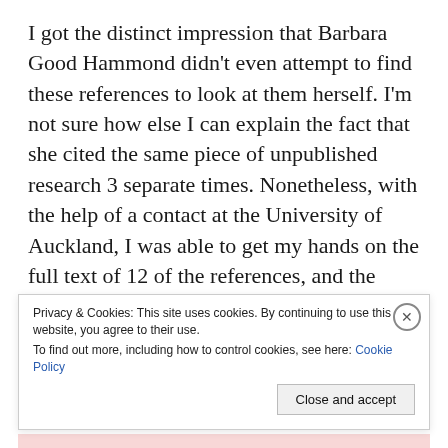I got the distinct impression that Barbara Good Hammond didn't even attempt to find these references to look at them herself. I'm not sure how else I can explain the fact that she cited the same piece of unpublished research 3 separate times. Nonetheless, with the help of a contact at the University of Auckland, I was able to get my hands on the full text of 12 of the references, and the abstracts of a further 6 references.
I went through each reference one by one, and found them all to be either irrelevant or
Privacy & Cookies: This site uses cookies. By continuing to use this website, you agree to their use.
To find out more, including how to control cookies, see here: Cookie Policy